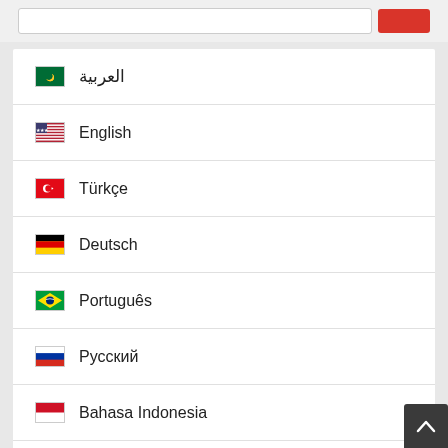العربية
English
Türkçe
Deutsch
Português
Русский
Bahasa Indonesia
Español
Tiếng Việt